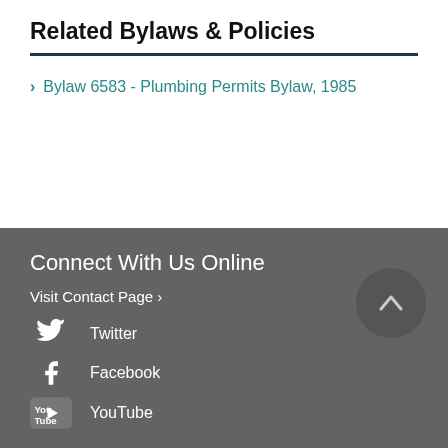Related Bylaws & Policies
Bylaw 6583 - Plumbing Permits Bylaw, 1985
Connect With Us Online
Visit Contact Page ›
Twitter
Facebook
YouTube